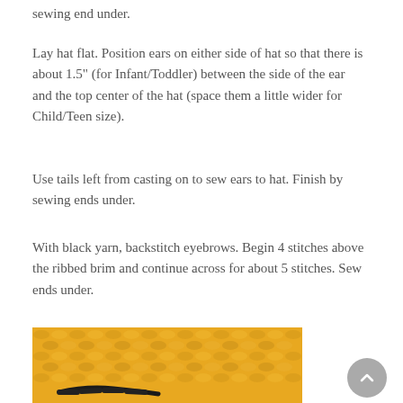sewing end under.
Lay hat flat. Position ears on either side of hat so that there is about 1.5" (for Infant/Toddler) between the side of the ear and the top center of the hat (space them a little wider for Child/Teen size).
Use tails left from casting on to sew ears to hat. Finish by sewing ends under.
With black yarn, backstitch eyebrows. Begin 4 stitches above the ribbed brim and continue across for about 5 stitches. Sew ends under.
[Figure (photo): Close-up photo of yellow/gold knitted fabric with a black backstitch visible at the bottom edge, showing the eyebrow stitching detail on a knitted hat.]